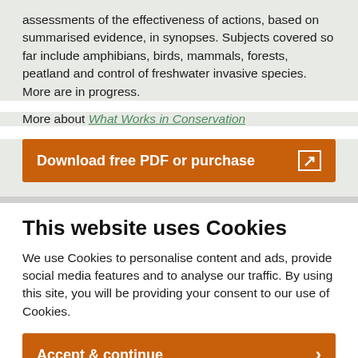assessments of the effectiveness of actions, based on summarised evidence, in synopses. Subjects covered so far include amphibians, birds, mammals, forests, peatland and control of freshwater invasive species. More are in progress.
More about What Works in Conservation
Download free PDF or purchase
This website uses Cookies
We use Cookies to personalise content and ads, provide social media features and to analyse our traffic. By using this site, you will be providing your consent to our use of Cookies.
Accept & continue